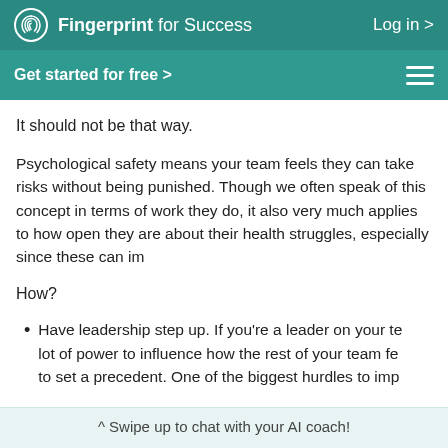Fingerprint for Success   Log in >
Get started for free >
It should not be that way.
Psychological safety means your team feels they can take risks without being punished. Though we often speak of this concept in terms of work they do, it also very much applies to how open they are about their health struggles, especially since these can im...
How?
Have leadership step up. If you're a leader on your team, you have a lot of power to influence how the rest of your team fe... to set a precedent. One of the biggest hurdles to imp...
^ Swipe up to chat with your AI coach!